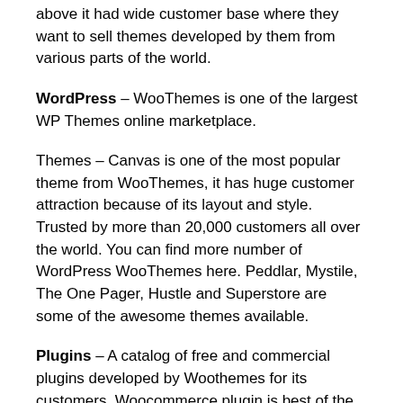above it had wide customer base where they want to sell themes developed by them from various parts of the world.
WordPress – WooThemes is one of the largest WP Themes online marketplace.
Themes – Canvas is one of the most popular theme from WooThemes, it has huge customer attraction because of its layout and style. Trusted by more than 20,000 customers all over the world. You can find more number of WordPress WooThemes here. Peddlar, Mystile, The One Pager, Hustle and Superstore are some of the awesome themes available.
Plugins – A catalog of free and commercial plugins developed by Woothemes for its customers. Woocommerce plugin is best of the lot from WooThemes and you get a box of tools used for future online business run. Sensei, WooSlider, Woodojo, Woosidebars are other useful plugins from WT.